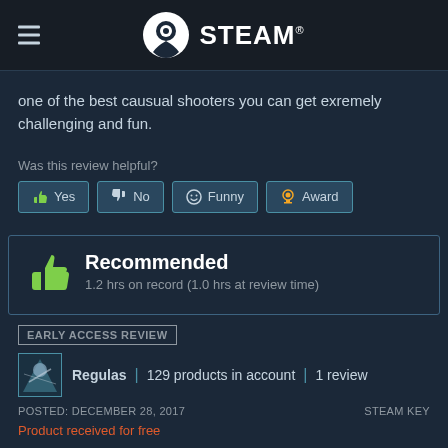Steam
one of the best causual shooters you can get exremely challenging and fun.
Was this review helpful?
[Figure (screenshot): Row of buttons: Yes (thumbs up), No (thumbs down), Funny (smiley), Award (trophy icon)]
[Figure (infographic): Recommended badge with green thumbs up icon, title Recommended, subtitle 1.2 hrs on record (1.0 hrs at review time)]
EARLY ACCESS REVIEW
Regulas | 129 products in account | 1 review
POSTED: DECEMBER 28, 2017   STEAM KEY
Product received for free
Very fun game im excited for the future of this one!!!